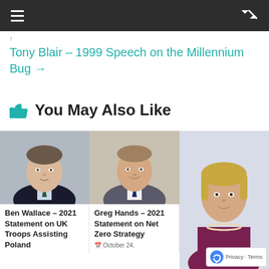Navigation bar
Tony Blair – 1999 Speech on the Millennium Bug →
👍 You May Also Like
[Figure (photo): Headshot of Ben Wallace, a middle-aged man in a dark suit]
Ben Wallace – 2021 Statement on UK Troops Assisting Poland
[Figure (photo): Headshot of Greg Hands, a man in a grey suit, smiling]
Greg Hands – 2021 Statement on Net Zero Strategy
October 24,
[Figure (photo): Headshot of Nicola Sturgeon, a woman with short blonde hair, wearing a purple top and pearl necklace]
Nicola Sturgeon –